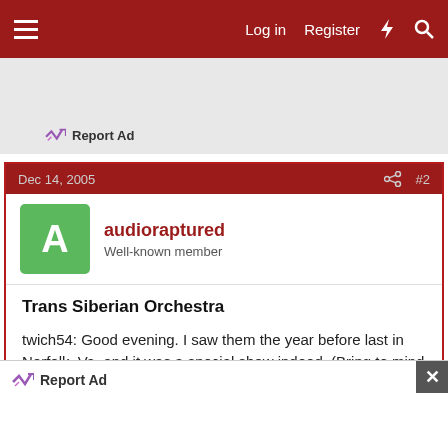Log in  Register
Report Ad
Dec 14, 2005  #2
audioraptured
Well-known member
Trans Siberian Orchestra
twich54: Good evening. I saw them the year before last in Norfolk, Va. and it was a special show indeed. (Bring to mind another orchestra type; {Mannheim Steamroller}, who were also very good last year); I
Report Ad